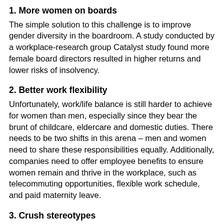1. More women on boards
The simple solution to this challenge is to improve gender diversity in the boardroom. A study conducted by a workplace-research group Catalyst study found more female board directors resulted in higher returns and lower risks of insolvency.
2. Better work flexibility
Unfortunately, work/life balance is still harder to achieve for women than men, especially since they bear the brunt of childcare, eldercare and domestic duties. There needs to be two shifts in this arena – men and women need to share these responsibilities equally. Additionally, companies need to offer employee benefits to ensure women remain and thrive in the workplace, such as telecommuting opportunities, flexible work schedule, and paid maternity leave.
3. Crush stereotypes
Despite many advances in opportunities for women in the